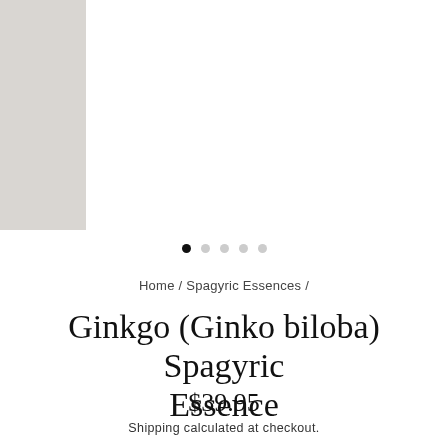[Figure (photo): Product image area placeholder - grey rectangle on left side]
[Figure (other): Carousel navigation dots - 5 dots with first one filled/active]
Home / Spagyric Essences /
Ginkgo (Ginko biloba) Spagyric Essence
$39.95
Shipping calculated at checkout.